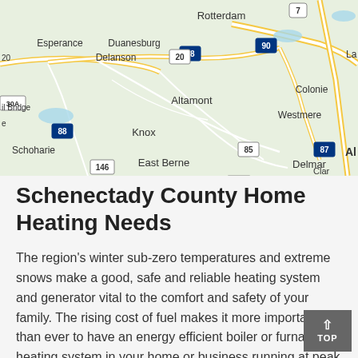[Figure (map): Google Maps view showing Schenectady County area including locations: Rotterdam, Esperance, Duanesburg, Delanson, Colonie, Altamont, Westmere, Knox, Schoharie, East Berne, Delmar, with highway markers 7, 20, 88, 90, 146, 30A, 30, 85, 87]
Schenectady County Home Heating Needs
The region's winter sub-zero temperatures and extreme snows make a good, safe and reliable heating system and generator vital to the comfort and safety of your family. The rising cost of fuel makes it more important than ever to have an energy efficient boiler or furnace heating system in your home or business running at peak performance. Call today for an evaluation and professional service furnace repair or